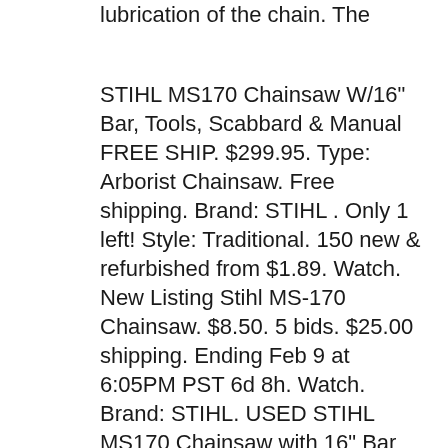lubrication of the chain. The
STIHL MS170 Chainsaw W/16" Bar, Tools, Scabbard & Manual FREE SHIP. $299.95. Type: Arborist Chainsaw. Free shipping. Brand: STIHL . Only 1 left! Style: Traditional. 150 new & refurbished from $1.89. Watch. New Listing Stihl MS-170 Chainsaw. $8.50. 5 bids. $25.00 shipping. Ending Feb 9 at 6:05PM PST 6d 8h. Watch. Brand: STIHL. USED STIHL MS170 Chainsaw with 16" Bar and chain needs repaired or Looking for a compact, occasional use chainsaw? Homeowners, look no further. Complete with the same design features the professionals depend on, the MS 170 is lightweight with just the right